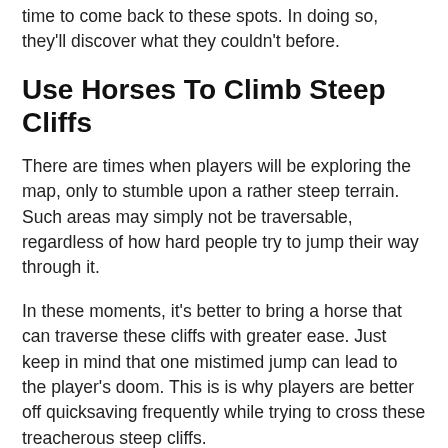time to come back to these spots. In doing so, they'll discover what they couldn't before.
Use Horses To Climb Steep Cliffs
There are times when players will be exploring the map, only to stumble upon a rather steep terrain. Such areas may simply not be traversable, regardless of how hard people try to jump their way through it.
In these moments, it's better to bring a horse that can traverse these cliffs with greater ease. Just keep in mind that one mistimed jump can lead to the player's doom. This is is why players are better off quicksaving frequently while trying to cross these treacherous steep cliffs.
Use (But Don't Abuse) The Fast